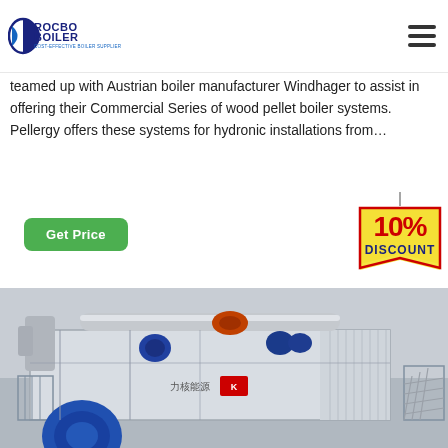ROCBO BOILER - COST-EFFECTIVE BOILER SUPPLIER
teamed up with Austrian boiler manufacturer Windhager to assist in offering their Commercial Series of wood pellet boiler systems. Pellergy offers these systems for hydronic installations from…
Get Price
[Figure (infographic): 10% DISCOUNT badge graphic]
[Figure (photo): Industrial boiler system installation showing large horizontal boiler unit with pipes, blower, and metal framework on rooftop, Chinese characters on boiler body]